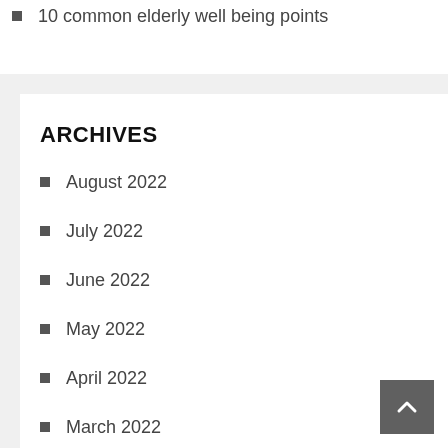10 common elderly well being points
ARCHIVES
August 2022
July 2022
June 2022
May 2022
April 2022
March 2022